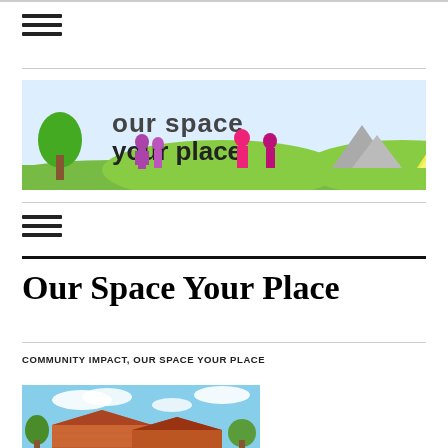[Figure (illustration): Our Space Your Place banner with colorful silhouettes of people, children, trees, playground, and sponsor logos (David Wilson Homes, Barratt Homes)]
Our Space Your Place
COMMUNITY IMPACT, OUR SPACE YOUR PLACE
[Figure (photo): Photograph of brick house rooftops against a blue sky with clouds and green trees]